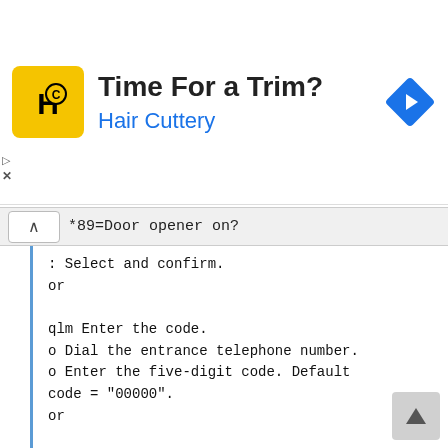[Figure (infographic): Advertisement banner for Hair Cuttery with logo, title 'Time For a Trim?', subtitle 'Hair Cuttery', navigation icon, play and close controls.]
*89=Door opener on?
: Select and confirm.
or

qlm Enter the code.
o Dial the entrance telephone number.
o Enter the five-digit code. Default code = "00000".
or

>

3=change password?

: Select the displayed function and press the "OK" dialog